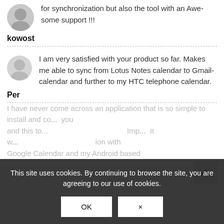for synchronization but also the tool with an Awe-some support !!!
kowost
I am very satisfied with your product so far. Makes me able to sync from Lotus Notes calendar to Gmail-calendar and further to my HTC telephone calendar.
Per
I have never come across an application that is so simple to install and co... and this to... It w... ion with Google Calendar and my Android based
This site uses cookies. By continuing to browse the site, you are agreeing to our use of cookies.